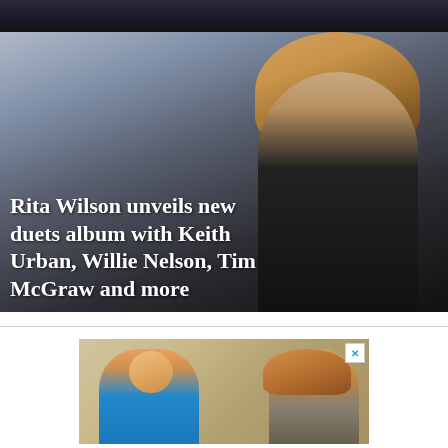[Figure (photo): Dark top strip photo, partial view of a scene with dark tones]
[Figure (photo): Photo of Rita Wilson, a woman with wavy blonde hair wearing a dark jacket, seated outdoors with blurred background]
Rita Wilson unveils new duets album with Keith Urban, Willie Nelson, Tim McGraw and more
[Figure (photo): Advertisement photo showing a young boy in a blue shirt looking at something held by a woman with long hair]